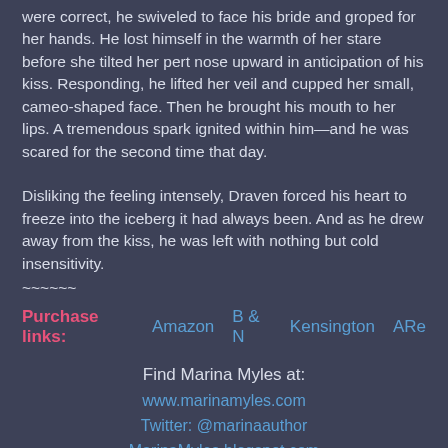were correct, he swiveled to face his bride and groped for her hands. He lost himself in the warmth of her stare before she tilted her pert nose upward in anticipation of his kiss. Responding, he lifted her veil and cupped her small, cameo-shaped face. Then he brought his mouth to her lips. A tremendous spark ignited within him—and he was scared for the second time that day.
Disliking the feeling intensely, Draven forced his heart to freeze into the iceberg it had always been. And as he drew away from the kiss, he was left with nothing but cold insensitivity.
~~~~~~
Purchase links:  Amazon  B & N  Kensington  ARe
Find Marina Myles at:
www.marinamyles.com
Twitter: @marinaauthor
MarinaMyles.blogspot.com
Marina Myles Facebook page
Marina Myles Goodreads author page